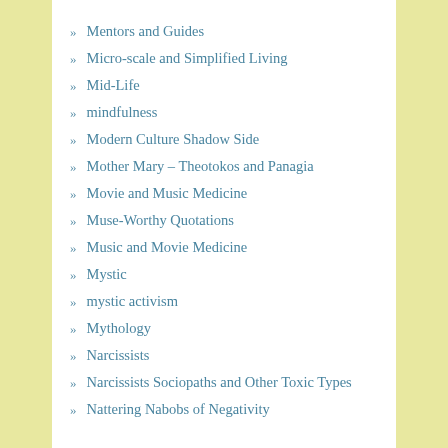Mentors and Guides
Micro-scale and Simplified Living
Mid-Life
mindfulness
Modern Culture Shadow Side
Mother Mary – Theotokos and Panagia
Movie and Music Medicine
Muse-Worthy Quotations
Music and Movie Medicine
Mystic
mystic activism
Mythology
Narcissists
Narcissists Sociopaths and Other Toxic Types
Nattering Nabobs of Negativity